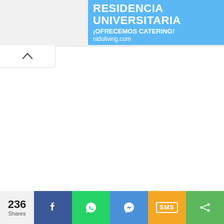[Figure (screenshot): Advertisement banner for Nido Living university residence offering catering service. Blue background with white bold text: RESIDENCIA UNIVERSITARIA, ¡OFRECEMOS CATERING!, nidoliving.com. Red vertical strip on right side with RESERVA Y text. House logo icon top right.]
[Figure (screenshot): White content area with chevron/up arrow tab on top-left, representing a collapsed or scrolled web page content area.]
236 Shares
[Figure (screenshot): Social share bar with buttons: Facebook (blue), WhatsApp (green), Messenger (blue), SMS (yellow/orange), More/Share (green). Shows 236 Shares count on left.]